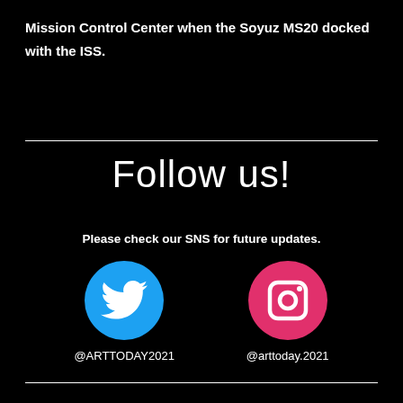Mission Control Center when the Soyuz MS20 docked with the ISS.
Follow us!
Please check our SNS for future updates.
[Figure (illustration): Twitter bird icon in white on a blue circle, labeled @ARTTODAY2021]
[Figure (illustration): Instagram camera icon in white on a pink/magenta circle, labeled @arttoday.2021]